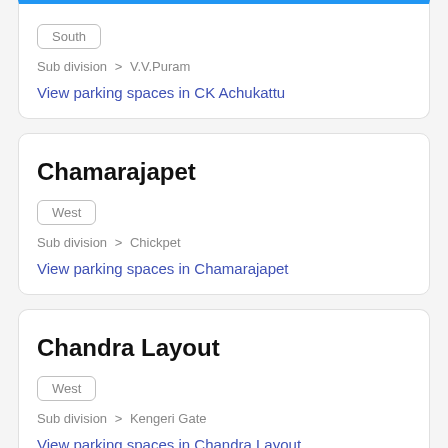South
Sub division > V.V.Puram
View parking spaces in CK Achukattu
Chamarajapet
West
Sub division > Chickpet
View parking spaces in Chamarajapet
Chandra Layout
West
Sub division > Kengeri Gate
View parking spaces in Chandra Layout